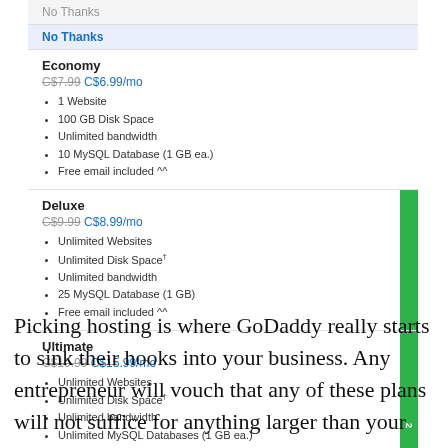[Figure (screenshot): GoDaddy hosting plan dropdown showing No Thanks, Economy (C$6.99/mo), Deluxe (C$8.99/mo), and Ultimate (C$15.99/mo) options with feature lists for each plan]
Picking hosting is where GoDaddy really starts to sink their hooks into your business. Any entrepreneur will vouch that any of these plans will not suffice for anything larger than your